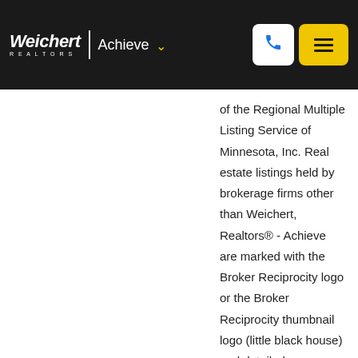Weichert | Achieve
of the Regional Multiple Listing Service of Minnesota, Inc. Real estate listings held by brokerage firms other than Weichert, Realtors® - Achieve are marked with the Broker Reciprocity logo or the Broker Reciprocity thumbnail logo (little black house) and detailed information about them includes the name of the listing brokers. The broker providing these data believes them to be